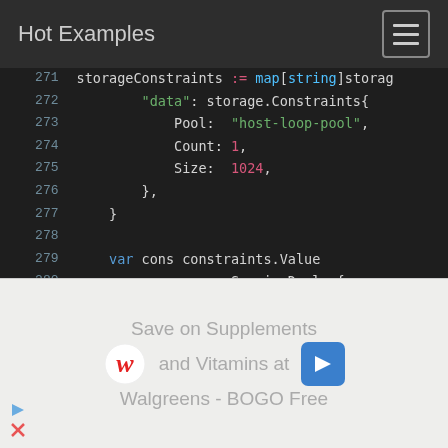Hot Examples
Code listing lines 271-285: Go code showing storageConstraints map, storage.Constraints struct with Pool, Count, Size fields, then var cons, args := params.ServiceDeploy with ServiceName, CharmUrl, NumUnits, Constraints, Storage fields
[Figure (other): Advertisement overlay for Walgreens: 'Save on Supplements and Vitamins at Walgreens - BOGO Free']